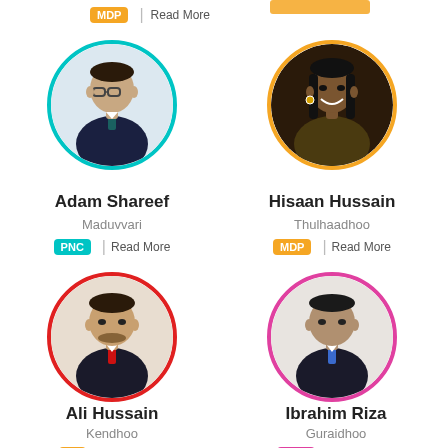MDP | Read More
[Figure (photo): Portrait photo of Adam Shareef in a circle with teal border]
Adam Shareef
Maduvvari
PNC | Read More
[Figure (photo): Portrait photo of Hisaan Hussain in a circle with yellow border]
Hisaan Hussain
Thulhaadhoo
MDP | Read More
[Figure (photo): Portrait photo of Ali Hussain in a circle with red border]
Ali Hussain
Kendhoo
JP | Read More
[Figure (photo): Portrait photo of Ibrahim Riza in a circle with pink/magenta border]
Ibrahim Riza
Guraidhoo
PPM | Read More